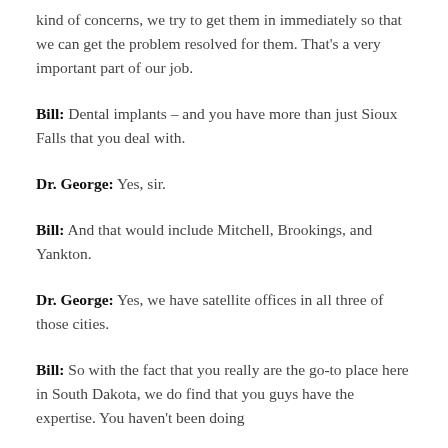kind of concerns, we try to get them in immediately so that we can get the problem resolved for them. That's a very important part of our job.
Bill: Dental implants – and you have more than just Sioux Falls that you deal with.
Dr. George: Yes, sir.
Bill: And that would include Mitchell, Brookings, and Yankton.
Dr. George: Yes, we have satellite offices in all three of those cities.
Bill: So with the fact that you really are the go-to place here in South Dakota, we do find that you guys have the expertise. You haven't been doing